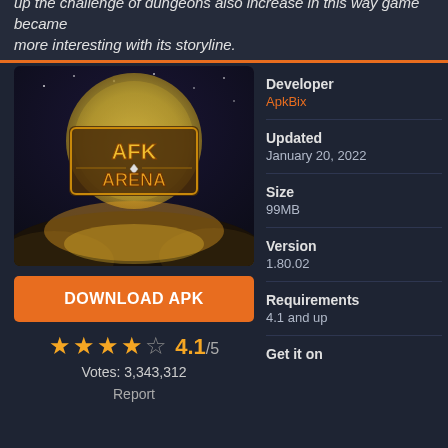up the challenge of dungeons also increase in this way game became more interesting with its storyline.
[Figure (illustration): AFK Arena game logo/splash art showing the game title with fantasy art background]
DOWNLOAD APK
4.1/5 Votes: 3,343,312
Report
Developer
ApkBix
Updated
January 20, 2022
Size
99MB
Version
1.80.02
Requirements
4.1 and up
Get it on